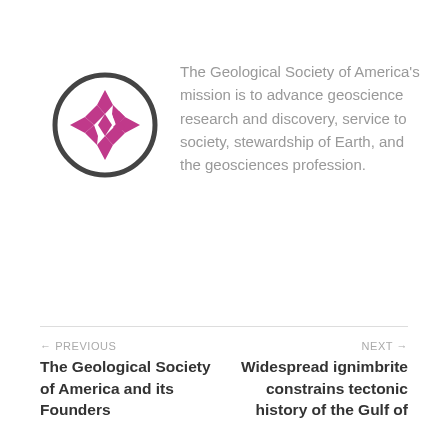[Figure (logo): Geological Society of America logo: a circle with a dark gray border containing a pink/magenta snowflake-like cross pattern made of triangular and diamond shapes.]
The Geological Society of America's mission is to advance geoscience research and discovery, service to society, stewardship of Earth, and the geosciences profession.
← PREVIOUS
The Geological Society of America and its Founders

NEXT →
Widespread ignimbrite constrains tectonic history of the Gulf of